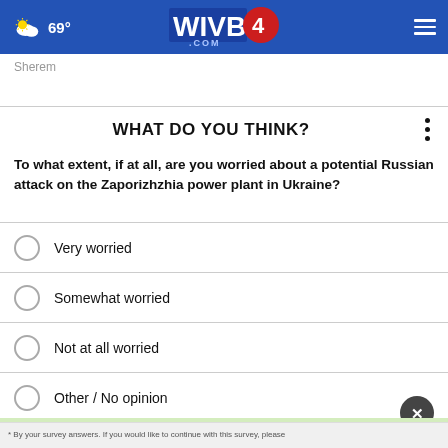WIVB4.COM — 69° weather — navigation menu
Sherem
WHAT DO YOU THINK?
To what extent, if at all, are you worried about a potential Russian attack on the Zaporizhzhia power plant in Ukraine?
Very worried
Somewhat worried
Not at all worried
Other / No opinion
* By ... your survey answers. If you would like to continue with this survey, please
[Figure (infographic): AARP advertisement banner: It's not too late to take charge of your retirement. Get your top 3 tips.]